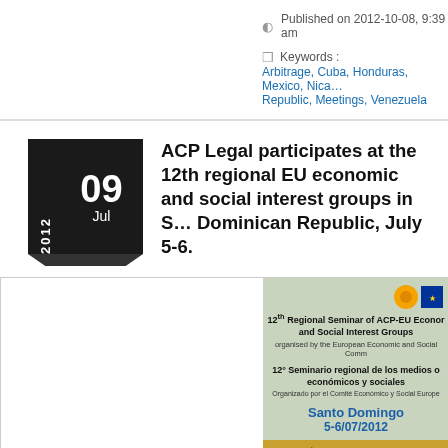Published on 2012-10-08, 9:39 am
Keywords : Arbitrage, Cuba, Honduras, Mexico, Nicaragua, Dominican Republic, Meetings, Venezuela
ACP Legal participates at the 12th regional EU economic and social interest groups in Santo Dominican Republic, July 5-6.
[Figure (photo): Seminar poster for 12th Regional Seminar of ACP-EU Economic and Social Interest Groups, Santo Domingo, 5-6/07/2012, with an arrow sign below]